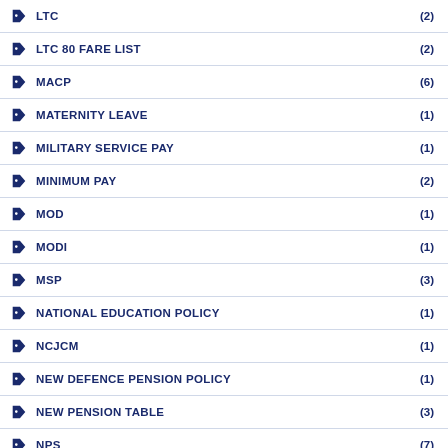LTC (2)
LTC 80 FARE LIST (2)
MACP (6)
MATERNITY LEAVE (1)
MILITARY SERVICE PAY (1)
MINIMUM PAY (2)
MOD (1)
MODI (1)
MSP (3)
NATIONAL EDUCATION POLICY (1)
NCJCM (1)
NEW DEFENCE PENSION POLICY (1)
NEW PENSION TABLE (3)
NPS (7)